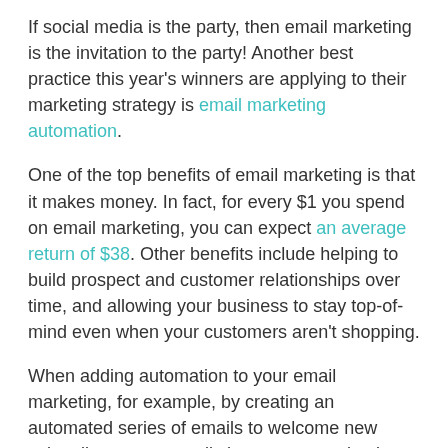If social media is the party, then email marketing is the invitation to the party! Another best practice this year's winners are applying to their marketing strategy is email marketing automation.
One of the top benefits of email marketing is that it makes money. In fact, for every $1 you spend on email marketing, you can expect an average return of $38. Other benefits include helping to build prospect and customer relationships over time, and allowing your business to stay top-of-mind even when your customers aren't shopping.
When adding automation to your email marketing, for example, by creating an automated series of emails to welcome new subscribers, your emails become more timely, relevant, and personalized. Plus, the average open rate for automated welcome emails is a whopping 50 percent.